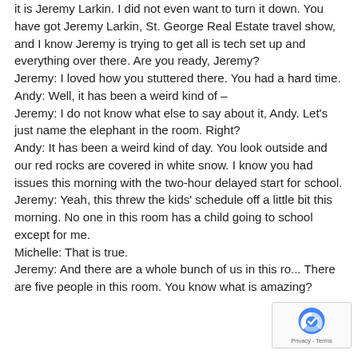it is Jeremy Larkin. I did not even want to turn it down. You have got Jeremy Larkin, St. George Real Estate travel show, and I know Jeremy is trying to get all is tech set up and everything over there. Are you ready, Jeremy? Jeremy: I loved how you stuttered there. You had a hard time. Andy: Well, it has been a weird kind of – Jeremy: I do not know what else to say about it, Andy. Let's just name the elephant in the room. Right? Andy: It has been a weird kind of day. You look outside and our red rocks are covered in white snow. I know you had issues this morning with the two-hour delayed start for school. Jeremy: Yeah, this threw the kids' schedule off a little bit this morning. No one in this room has a child going to school except for me. Michelle: That is true. Jeremy: And there are a whole bunch of us in this ro... There are five people in this room. You know what is amazing?
[Figure (other): reCAPTCHA badge with logo and Privacy-Terms text]